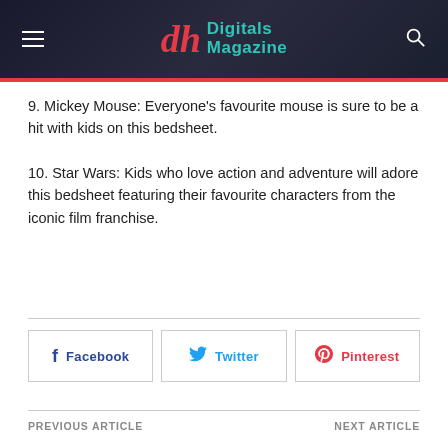Digitals Magazine
9. Mickey Mouse: Everyone's favourite mouse is sure to be a hit with kids on this bedsheet.
10. Star Wars: Kids who love action and adventure will adore this bedsheet featuring their favourite characters from the iconic film franchise.
Facebook  Twitter  Pinterest
PREVIOUS ARTICLE   NEXT ARTICLE